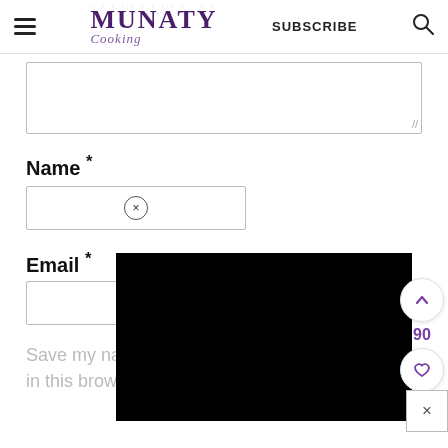MUNATY Cooking — SUBSCRIBE
[Figure (screenshot): Munaty Cooking website header with hamburger menu, purple logo with script subtitle, SUBSCRIBE text, and search icon]
Name *
[Figure (screenshot): Input field for Name with a circular X (clear) button, followed by a black video/ad overlay block]
Email *
Save my name, email, and website in this browser for the next time I